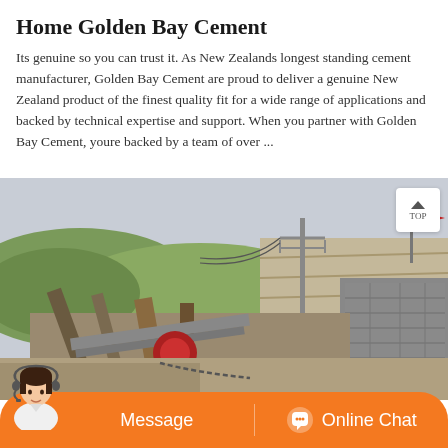Home Golden Bay Cement
Its genuine so you can trust it. As New Zealands longest standing cement manufacturer, Golden Bay Cement are proud to deliver a genuine New Zealand product of the finest quality fit for a wide range of applications and backed by technical expertise and support. When you partner with Golden Bay Cement, youre backed by a team of over ...
[Figure (photo): Industrial cement/quarry machinery and equipment at an outdoor site with hills, power lines, and a red flag visible in the background.]